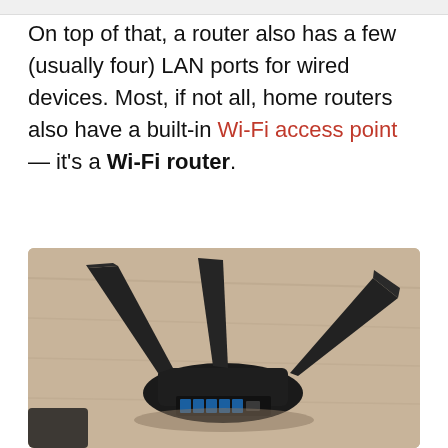On top of that, a router also has a few (usually four) LAN ports for wired devices. Most, if not all, home routers also have a built-in Wi-Fi access point — it's a Wi-Fi router.
[Figure (photo): A black Wi-Fi router with angular wing-like antennas sitting on a wooden surface, showing LAN ports at the back]